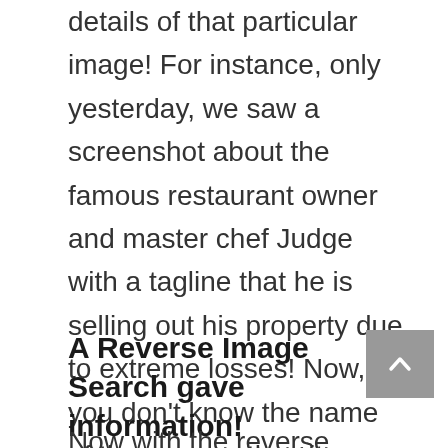details of that particular image! For instance, only yesterday, we saw a screenshot about the famous restaurant owner and master chef Judge with a tagline that he is selling out his property due to extreme losses! Now, if you don't know the name of the person, then it can be not very easy for you to know about the details of this news, but if you make a reverse image search on this picture you will get the complete details of the image and the news too!
A Reverse Image Search gave information!
Now with the reverse image search, you can find out more